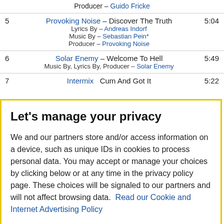Producer – Guido Fricke
5   Provoking Noise – Discover The Truth   5:04
Lyrics By – Andreas Indorf
Music By – Sebastian Pein*
Producer – Provoking Noise
6   Solar Enemy – Welcome To Hell   5:49
Music By, Lyrics By, Producer – Solar Enemy
7   Intermix   Cum And Got It   5:22
Let's manage your privacy
We and our partners store and/or access information on a device, such as unique IDs in cookies to process personal data. You may accept or manage your choices by clicking below or at any time in the privacy policy page. These choices will be signaled to our partners and will not affect browsing data. Read our Cookie and Internet Advertising Policy
Cookies Settings
Accept All Cookies